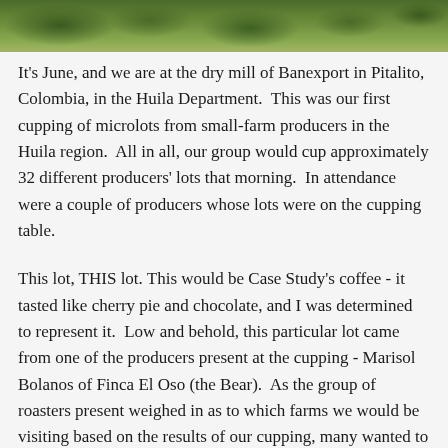[Figure (photo): Photograph strip at the top of the page showing a lush green hillside/forest landscape in Colombia, with trees and vegetation visible.]
It's June, and we are at the dry mill of Banexport in Pitalito, Colombia, in the Huila Department.  This was our first cupping of microlots from small-farm producers in the Huila region.  All in all, our group would cup approximately 32 different producers' lots that morning.  In attendance were a couple of producers whose lots were on the cupping table.
This lot, THIS lot. This would be Case Study's coffee - it tasted like cherry pie and chocolate, and I was determined to represent it.  Low and behold, this particular lot came from one of the producers present at the cupping - Marisol Bolanos of Finca El Oso (the Bear).  As the group of roasters present weighed in as to which farms we would be visiting based on the results of our cupping, many wanted to visit this farm.  Bonus that they said horses would be involved!